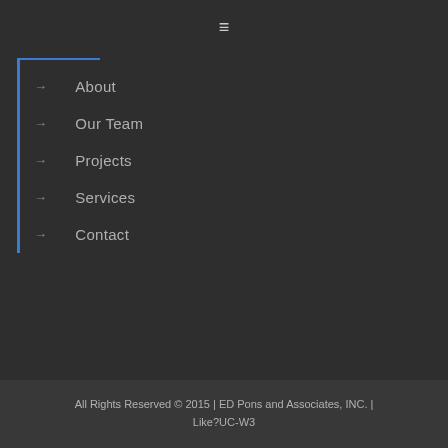≡
→ About
→ Our Team
→ Projects
→ Services
→ Contact
All Rights Reserved © 2015 | ED Pons and Associates, INC. | Like?UC-W3